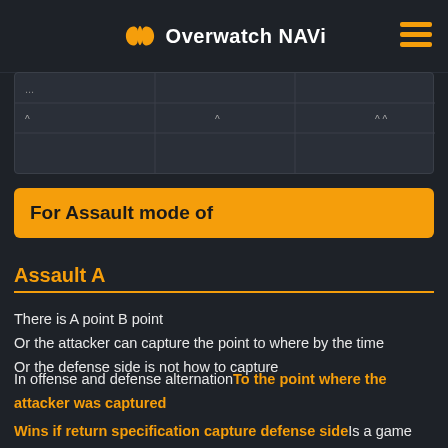Overwatch NAVi
[Figure (table-as-image): Partial table visible at top of page, partially cropped]
For Assault mode of
Assault A
There is A point B point
Or the attacker can capture the point to where by the time
Or the defense side is not how to capture
In offense and defense alternationTo the point where the attacker was captured
Wins if return specification capture defense sideIs a game mode that
Defense side A,B for both widely available from the first area
We are specializing in it and delay to suppress the opponent